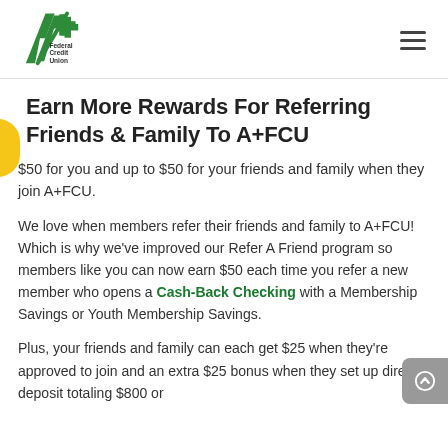A+ Federal Credit Union
Earn More Rewards For Referring Friends & Family To A+FCU
$50 for you and up to $50 for your friends and family when they join A+FCU.
We love when members refer their friends and family to A+FCU! Which is why we've improved our Refer A Friend program so members like you can now earn $50 each time you refer a new member who opens a Cash-Back Checking with a Membership Savings or Youth Membership Savings.
Plus, your friends and family can each get $25 when they're approved to join and an extra $25 bonus when they set up direct deposit totaling $800 or